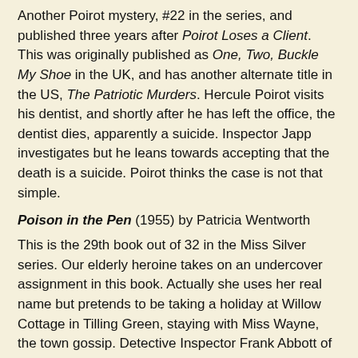Another Poirot mystery, #22 in the series, and published three years after Poirot Loses a Client. This was originally published as One, Two, Buckle My Shoe in the UK, and has another alternate title in the US, The Patriotic Murders. Hercule Poirot visits his dentist, and shortly after he has left the office, the dentist dies, apparently a suicide. Inspector Japp investigates but he leans towards accepting that the death is a suicide. Poirot thinks the case is not that simple.
Poison in the Pen (1955) by Patricia Wentworth
This is the 29th book out of 32 in the Miss Silver series. Our elderly heroine takes on an undercover assignment in this book. Actually she uses her real name but pretends to be taking a holiday at Willow Cottage in Tilling Green, staying with Miss Wayne, the town gossip. Detective Inspector Frank Abbott of Scotland Yard has asked Miss Silver to quietly investigate a case of poison pen letters that may have led to the death of a young woman.
The Fever Tree and Other Stories (1982) by Ruth Rendell
This collection contains 10 short stories and one novella. All